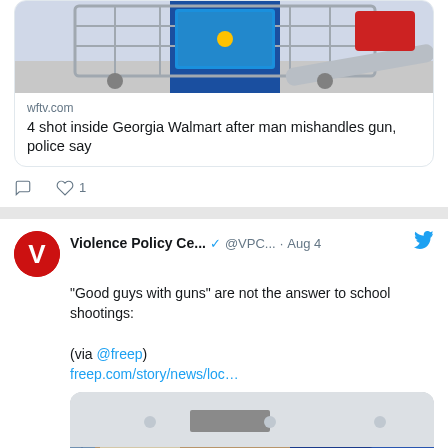[Figure (screenshot): Link preview image showing a shopping cart with a tablet/device inside it at what appears to be a Walmart store parking lot]
wftv.com
4 shot inside Georgia Walmart after man mishandles gun, police say
comment icon, heart icon with count 1
[Figure (logo): Violence Policy Center red logo with letter V]
Violence Policy Ce... @VPC... · Aug 4
"Good guys with guns" are not the answer to school shootings:

(via @freep)
freep.com/story/news/loc…
[Figure (photo): Interior of a school building showing ceiling, hallway, and blue branded wall]